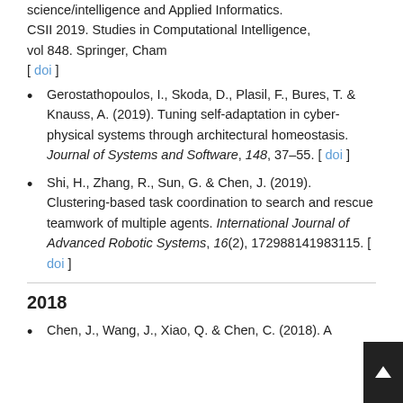science/intelligence and Applied Informatics. CSII 2019. Studies in Computational Intelligence, vol 848. Springer, Cham [ doi ]
Gerostathopoulos, I., Skoda, D., Plasil, F., Bures, T. & Knauss, A. (2019). Tuning self-adaptation in cyber-physical systems through architectural homeostasis. Journal of Systems and Software, 148, 37–55. [ doi ]
Shi, H., Zhang, R., Sun, G. & Chen, J. (2019). Clustering-based task coordination to search and rescue teamwork of multiple agents. International Journal of Advanced Robotic Systems, 16(2), 172988141983115. [ doi ]
2018
Chen, J., Wang, J., Xiao, Q. & Chen, C. (2018). A